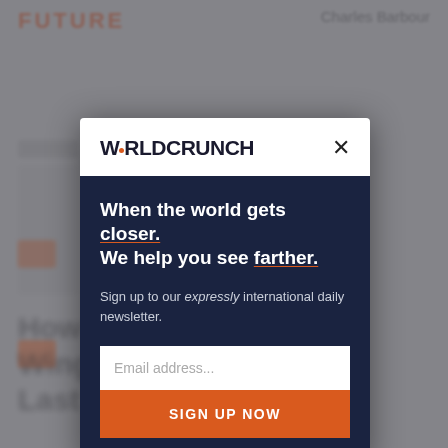[Figure (screenshot): Blurred webpage background showing Worldcrunch article page with orange FUTURE tag and author name Charles Barbour, and blurred headline text at bottom]
WORLDCRUNCH
When the world gets closer. We help you see farther.
Sign up to our expressly international daily newsletter.
Email address...
SIGN UP NOW